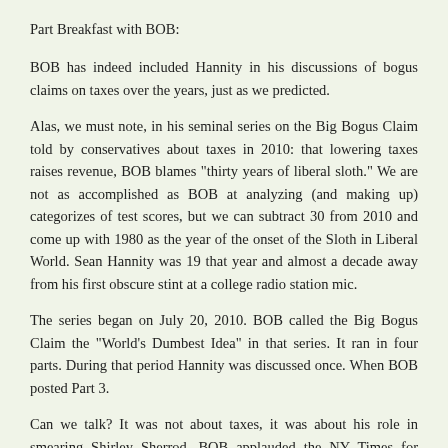Part Breakfast with BOB:
BOB has indeed included Hannity in his discussions of bogus claims on taxes over the years, just as we predicted.
Alas, we must note, in his seminal series on the Big Bogus Claim told by conservatives about taxes in 2010: that lowering taxes raises revenue, BOB blames "thirty years of liberal sloth." We are not as accomplished as BOB at analyzing (and making up) categorizes of test scores, but we can subtract 30 from 2010 and come up with 1980 as the year of the onset of the Sloth in Liberal World. Sean Hannity was 19 that year and almost a decade away from his first obscure stint at a college radio station mic.
The series began on July 20, 2010. BOB called the Big Bogus Claim the "World's Dumbest Idea" in that series. It ran in four parts. During that period Hannity was discussed once. When BOB posted Part 3.
Can we talk? It was not about taxes, it was about his role in smearing Shirley Sherrod. BOB applauded the NY Times for naming names by citing Hannity in that instance. He quickly